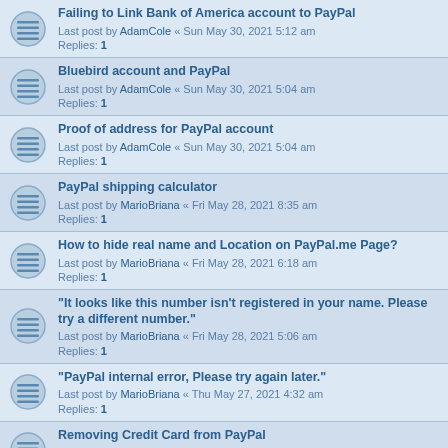Failing to Link Bank of America account to PayPal
Last post by AdamCole « Sun May 30, 2021 5:12 am
Replies: 1
Bluebird account and PayPal
Last post by AdamCole « Sun May 30, 2021 5:04 am
Replies: 1
Proof of address for PayPal account
Last post by AdamCole « Sun May 30, 2021 5:04 am
Replies: 1
PayPal shipping calculator
Last post by MarioBriana « Fri May 28, 2021 8:35 am
Replies: 1
How to hide real name and Location on PayPal.me Page?
Last post by MarioBriana « Fri May 28, 2021 6:18 am
Replies: 1
"It looks like this number isn't registered in your name. Please try a different number."
Last post by MarioBriana « Fri May 28, 2021 5:06 am
Replies: 1
"PayPal internal error, Please try again later."
Last post by MarioBriana « Thu May 27, 2021 4:32 am
Replies: 1
Removing Credit Card from PayPal
Last post by MarkHenry « Tue May 25, 2021 1:38 pm
Replies: 1
How to change PayPal business to personal account?
Last post by MarkHenry « Tue May 25, 2021 1:25 pm
Replies: 1